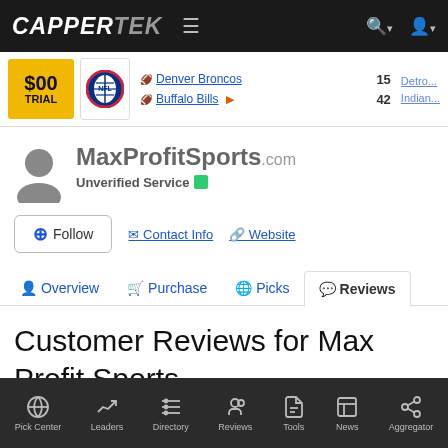CAPPERTEK
[Figure (screenshot): Scores bar showing NFL scores: Denver Broncos vs Buffalo Bills 42, and Detroit Indians partial]
MaxProfitSports.com Unverified Service
+ Follow  Contact Info  Website
Overview  Purchase  Picks  Reviews
Customer Reviews for Max Profit Sports
Pick Center  Leaders  Directory  Reviews  Tools  News  Aggregator